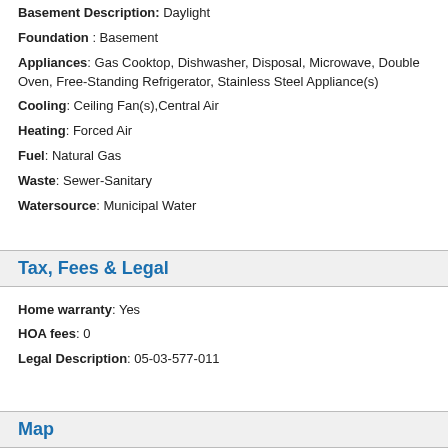Basement Description: Daylight
Foundation: Basement
Appliances: Gas Cooktop, Dishwasher, Disposal, Microwave, Double Oven, Free-Standing Refrigerator, Stainless Steel Appliance(s)
Cooling: Ceiling Fan(s),Central Air
Heating: Forced Air
Fuel: Natural Gas
Waste: Sewer-Sanitary
Watersource: Municipal Water
Tax, Fees & Legal
Home warranty: Yes
HOA fees: 0
Legal Description: 05-03-577-011
Map